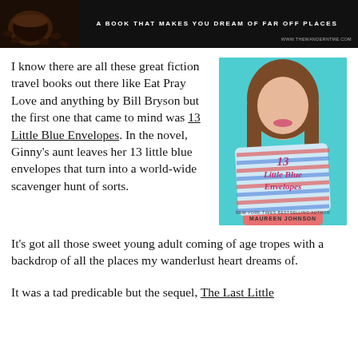[Figure (photo): Dark banner with coffee beans image on the left, bold white text reading 'A BOOK THAT MAKES YOU DREAM OF FAR OFF PLACES', and a small URL in the bottom right corner.]
I know there are all these great fiction travel books out there like Eat Pray Love and anything by Bill Bryson but the first one that came to mind was 13 Little Blue Envelopes. In the novel, Ginny's aunt leaves her 13 little blue envelopes that turn into a world-wide scavenger hunt of sorts. It's got all those sweet young adult coming of age tropes with a backdrop of all the places my wanderlust heart dreams of.
[Figure (photo): Book cover of '13 Little Blue Envelopes' by Maureen Johnson, showing a young woman with long brown hair holding a light blue airmail envelope in front of her face. The title is written in pink cursive script on the envelope. Author credited as 'New York Times Bestselling Author Maureen Johnson'.]
It was a tad predicable but the sequel, The Last Little